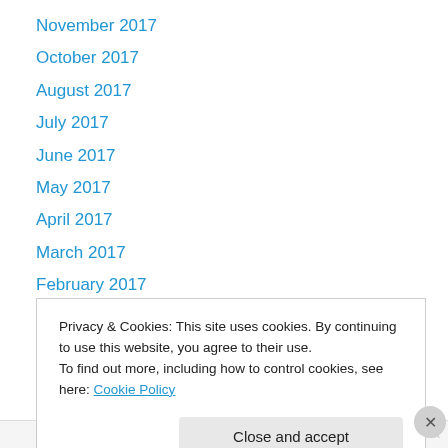November 2017
October 2017
August 2017
July 2017
June 2017
May 2017
April 2017
March 2017
February 2017
December 2016
November 2016
October 2016
September 2016
Privacy & Cookies: This site uses cookies. By continuing to use this website, you agree to their use. To find out more, including how to control cookies, see here: Cookie Policy
Close and accept